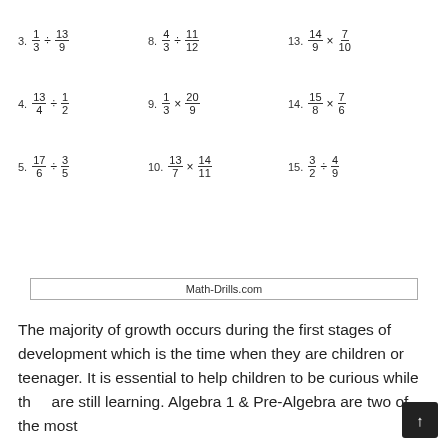Math-Drills.com
The majority of growth occurs during the first stages of development which is the time when they are children or teenager. It is essential to help children to be curious while they are still learning. Algebra 1 & Pre-Algebra are two of the most